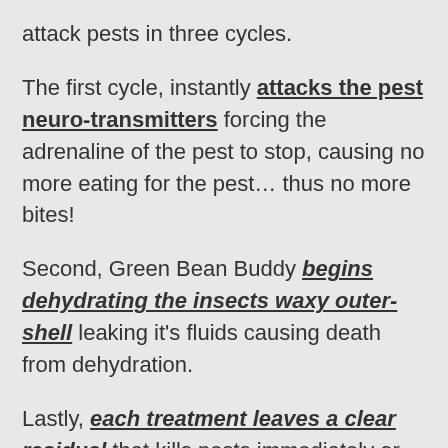attack pests in three cycles.
The first cycle, instantly attacks the pest neuro-transmitters forcing the adrenaline of the pest to stop, causing no more eating for the pest… thus no more bites!
Second, Green Bean Buddy begins dehydrating the insects waxy outer-shell leaking it's fluids causing death from dehydration.
Lastly, each treatment leaves a clear residual that kills pests immediately or causes them to scatter away spreading our formula into the